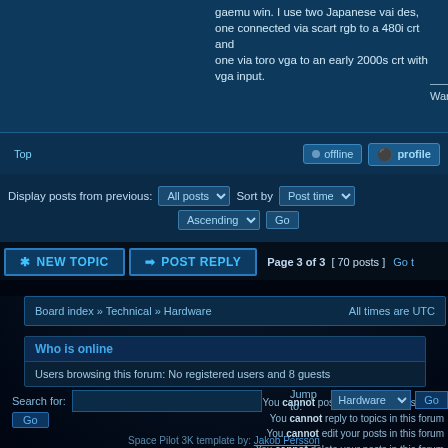gaemu win. I use two Japanese vai des, one connected via scart rgb to a 480i crt and one via toro vga to an early 2000s crt with vga input.
War on hemorrhoids.
Top  ● offline  ✦ profile
Display posts from previous: All posts ▼  Sort by  Post time ▼  Ascending ▼  Go
* NEW TOPIC  → POST REPLY  Page 3 of 3  [ 70 posts ]  Go t
Board index » Technical » Hardware   All times are UTC
Who is online
Users browsing this forum: No registered users and 8 guests
You cannot post new topics in this forum
You cannot reply to topics in this forum
You cannot edit your posts in this forum
You cannot delete your posts in this forum
Search for:  [input]  Go
Jump to:  Hardware ▼  Go
Space Pilot 3K template by: Jakob Persson